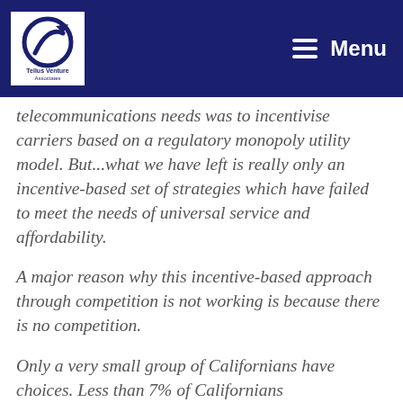Tellus Venture Associates — Menu
telecommunications needs was to incentivise carriers based on a regulatory monopoly utility model. But…what we have left is really only an incentive-based set of strategies which have failed to meet the needs of universal service and affordability.
A major reason why this incentive-based approach through competition is not working is because there is no competition.
Only a very small group of Californians have choices. Less than 7% of Californians